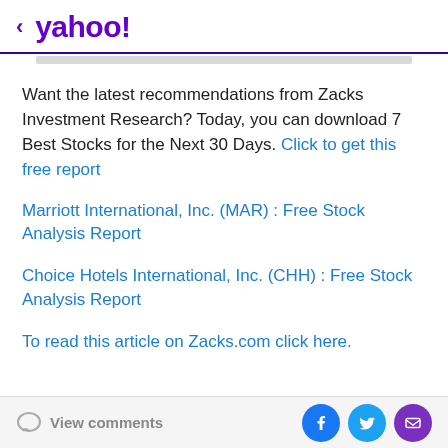< yahoo!
Want the latest recommendations from Zacks Investment Research? Today, you can download 7 Best Stocks for the Next 30 Days. Click to get this free report
Marriott International, Inc. (MAR) : Free Stock Analysis Report
Choice Hotels International, Inc. (CHH) : Free Stock Analysis Report
To read this article on Zacks.com click here.
View comments